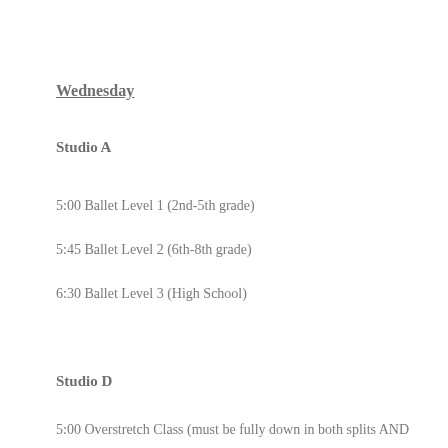Wednesday
Studio A
5:00 Ballet Level 1 (2nd-5th grade)
5:45 Ballet Level 2 (6th-8th grade)
6:30 Ballet Level 3 (High School)
Studio D
5:00 Overstretck Class (must be fully down in both splits AND